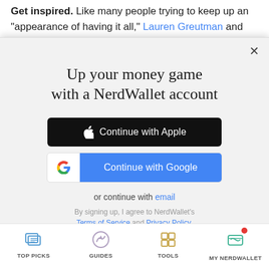Get inspired. Like many people trying to keep up an "appearance of having it all," Lauren Greutman and her husband, Mark, bought an expensive home,
[Figure (screenshot): NerdWallet sign-up modal overlay with title 'Up your money game with a NerdWallet account', Apple sign-in button, Google sign-in button, email link, and terms of service text]
TOP PICKS   GUIDES   TOOLS   MY NERDWALLET